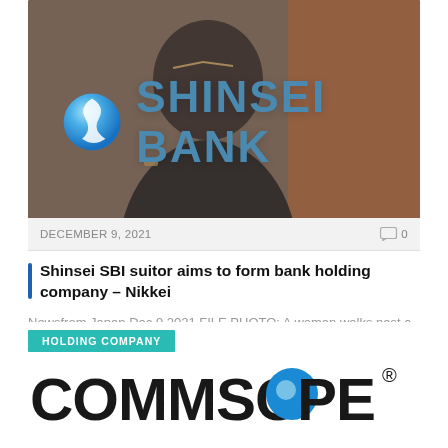[Figure (photo): Shinsei Bank logo on a glass window with a woman walking past in the background. Blue globe icon and teal 'SHINSEI BANK' text visible.]
DECEMBER 9, 2021
0
Shinsei SBI suitor aims to form bank holding company – Nikkei
Newsfrom Japan Dec 9 2021 FILE PHOTO: A woman walks past a Shinsei Bank logo…
HOLDING COMPANY
[Figure (logo): CommScope logo in large bold black text with registered trademark symbol]